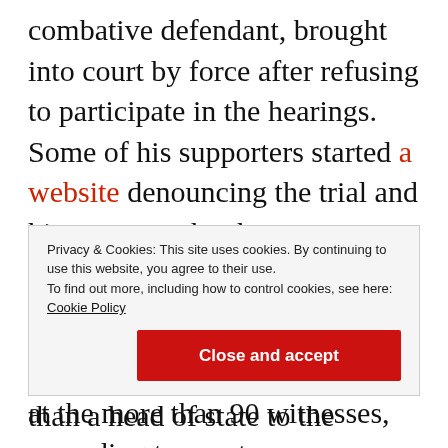combative defendant, brought into court by force after refusing to participate in the hearings. Some of his supporters started a website denouncing the trial and his treatment by the court.
Mr. Habré often wore sunglasses and a turban during testimony, rarely turning to look at the more than 90 witnesses, according to courtroom observers. He dressed in a similar fashion on Monday, looking more like a nomad
Privacy & Cookies: This site uses cookies. By continuing to use this website, you agree to their use.
To find out more, including how to control cookies, see here: Cookie Policy
Close and accept
than a head of state to the...